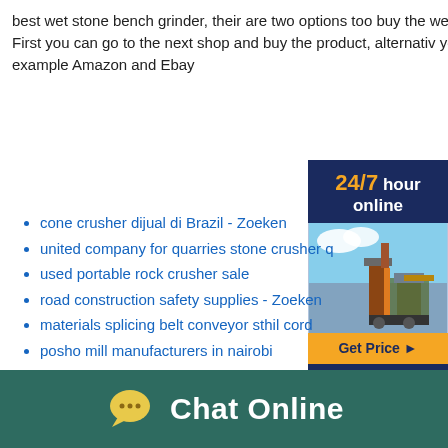best wet stone bench grinder, their are two options too buy the wet stone bench grinder First you can go to the next shop and buy the product, alternativ you can us shop, for example Amazon and Ebay
cone crusher dijual di Brazil - Zoeken
united company for quarries stone crusher q
used portable rock crusher sale
road construction safety supplies - Zoeken
materials splicing belt conveyor sthil cord
posho mill manufacturers in nairobi
m sand manufacturers in tamil nadu bulgaria
tracked mobile cone crusher plant
economic significance of iron in India
puff cake powder pressing machine jfy series - Zoeken
where to buy gold in Zimbabwe 10461
[Figure (infographic): Advertisement box with dark blue background showing '24/7 hour online', a photo of industrial crusher machinery, 'Get Price' button in orange, and 'Quoting Online' text]
Chat Online